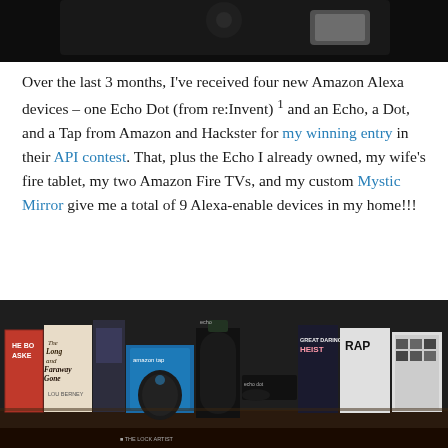[Figure (photo): Top partial image — dark/black background, appears to be a device or speaker shown partially at the top of the page]
Over the last 3 months, I've received four new Amazon Alexa devices – one Echo Dot (from re:Invent) ¹ and an Echo, a Dot, and a Tap from Amazon and Hackster for my winning entry in their API contest. That, plus the Echo I already owned, my wife's fire tablet, my two Amazon Fire TVs, and my custom Mystic Mirror give me a total of 9 Alexa-enable devices in my home!!!
[Figure (photo): Photo showing multiple Amazon Alexa devices (Echo, Echo Dot, Amazon Tap) alongside books including 'The Long and Faraway Gone' by Lou Berney, 'Great Daring Heist', and other items arranged on a shelf/table]